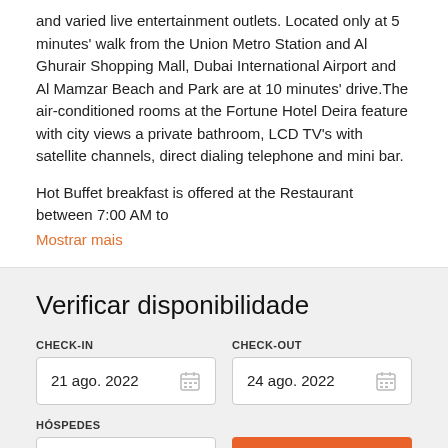and varied live entertainment outlets. Located only at 5 minutes' walk from the Union Metro Station and Al Ghurair Shopping Mall, Dubai International Airport and Al Mamzar Beach and Park are at 10 minutes' drive.The air-conditioned rooms at the Fortune Hotel Deira feature with city views a private bathroom, LCD TV's with satellite channels, direct dialing telephone and mini bar.
Hot Buffet breakfast is offered at the Restaurant between 7:00 AM to
Mostrar mais
Verificar disponibilidade
CHECK-IN: 21 ago. 2022 | CHECK-OUT: 24 ago. 2022 | HÓSPEDES: 2 Hóspedes